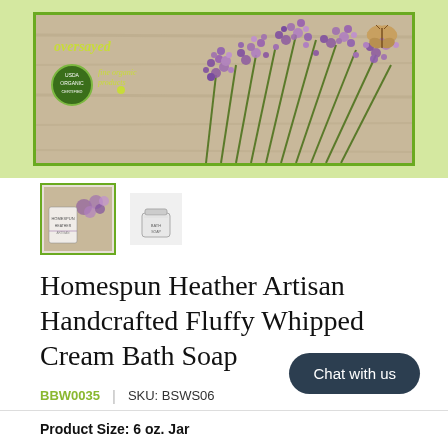[Figure (photo): Oversayed Fine Organic Products banner with purple heather flowers on wooden surface and company logo in top left corner]
[Figure (photo): Two product thumbnails: selected thumbnail showing heather artisan bath soap product label with green border, and second thumbnail showing white jar of the product]
Homespun Heather Artisan Handcrafted Fluffy Whipped Cream Bath Soap
BBW0035  |  SKU: BSWS06
Product Size: 6 oz. Jar